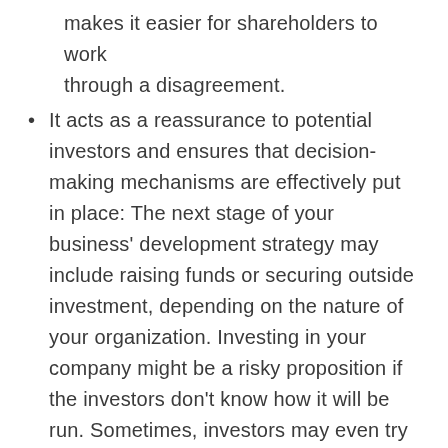makes it easier for shareholders to work through a disagreement.
It acts as a reassurance to potential investors and ensures that decision-making mechanisms are effectively put in place: The next stage of your business' development strategy may include raising funds or securing outside investment, depending on the nature of your organization. Investing in your company might be a risky proposition if the investors don't know how it will be run. Sometimes, investors may even try to get further rights, such as requiring that certain business decisions be made only after they have been approved by them in